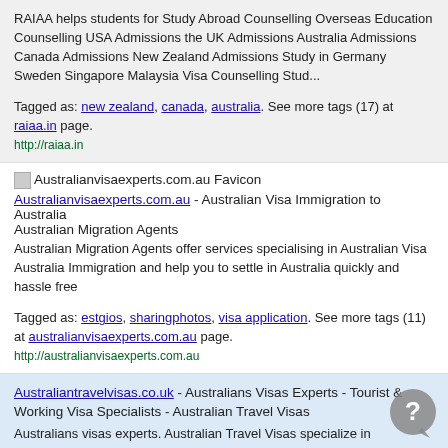RAIAA helps students for Study Abroad Counselling Overseas Education Counselling USA Admissions the UK Admissions Australia Admissions Canada Admissions New Zealand Admissions Study in Germany Sweden Singapore Malaysia Visa Counselling Stud...
Tagged as: new zealand, canada, australia. See more tags (17) at raiaa.in page.
http://raiaa.in
Australianvisaexperts.com.au Favicon
Australianvisaexperts.com.au - Australian Visa Immigration to Australia
Australian Migration Agents
Australian Migration Agents offer services specialising in Australian Visa Australia Immigration and help you to settle in Australia quickly and hassle free
Tagged as: estgios, sharingphotos, visa application. See more tags (11) at australianvisaexperts.com.au page.
http://australianvisaexperts.com.au
Australiantravelvisas.co.uk - Australians Visas Experts - Tourist & Working Visa Specialists - Australian Travel Visas
Australians visas experts. Australian Travel Visas specialize in processing Australians tourist visas and Australian working visas
Tagged as: beyazeyamutfak, and australia, goldcoastholidays. See more tags (19) at australiantravelvisas.co.uk page.
http://www.australiantravelvisas.co.uk/